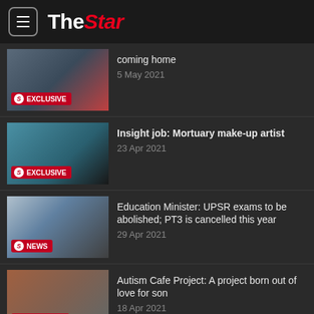The Star
coming home · 5 May 2021
Insight job: Mortuary make-up artist · 23 Apr 2021
Education Minister: UPSR exams to be abolished; PT3 is cancelled this year · 29 Apr 2021
Autism Cafe Project: A project born out of love for son · 18 Apr 2021
Preserving an ancient Sikh martial art - Gatka · 13 Apr 2021